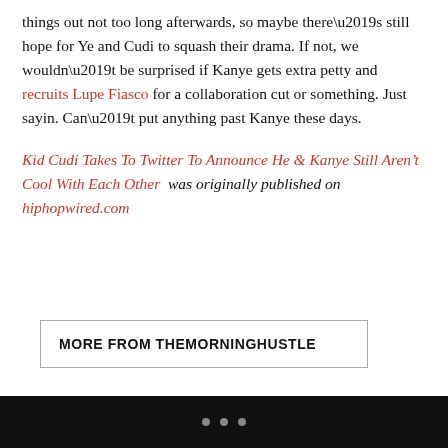things out not too long afterwards, so maybe there’s still hope for Ye and Cudi to squash their drama. If not, we wouldn’t be surprised if Kanye gets extra petty and recruits Lupe Fiasco for a collaboration cut or something. Just sayin. Can’t put anything past Kanye these days.
Kid Cudi Takes To Twitter To Announce He & Kanye Still Aren’t Cool With Each Other was originally published on hiphopwired.com
MORE FROM THEMORNINGHUSTLE
■
• • •